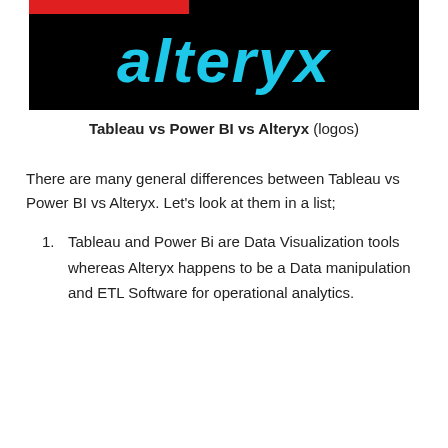[Figure (logo): Alteryx logo on black background with red bar accent and cyan italic text reading 'alteryx']
Tableau vs Power BI vs Alteryx (logos)
There are many general differences between Tableau vs Power BI vs Alteryx. Let's look at them in a list;
Tableau and Power Bi are Data Visualization tools whereas Alteryx happens to be a Data manipulation and ETL Software for operational analytics.